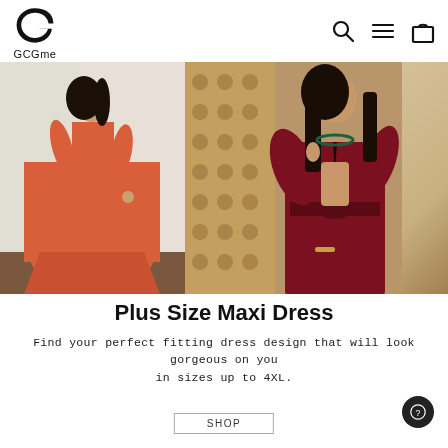[Figure (logo): GCGme brand logo — circular G letterform in black with 'GCGme' text below]
[Figure (photo): Product banner showing two women wearing maxi dresses: left woman in orange/coral long flowing gown; center woman in dark burgundy/wine deep-V wrap dress with tied waist belt and split sleeves; partial decorative fabric visible on right]
Plus Size Maxi Dress
Find your perfect fitting dress design that will look gorgeous on you in sizes up to 4XL.
SHOP